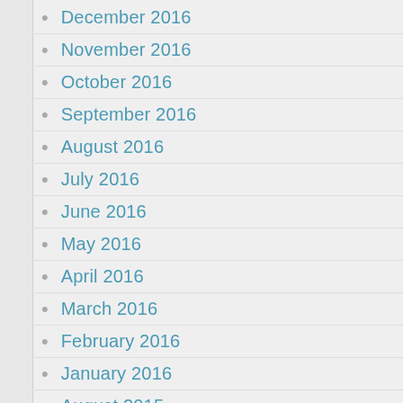December 2016
November 2016
October 2016
September 2016
August 2016
July 2016
June 2016
May 2016
April 2016
March 2016
February 2016
January 2016
August 2015
July 2015